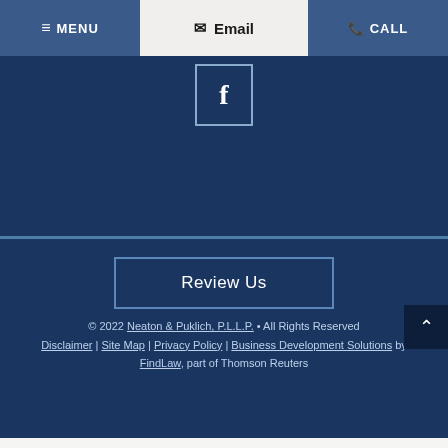☰ MENU | ✉ Email | ☎ CALL
[Figure (other): Facebook social media icon button with border on dark blue background]
Review Us
© 2022 Neaton & Puklich, P.L.L.P. • All Rights Reserved | Disclaimer | Site Map | Privacy Policy | Business Development Solutions by FindLaw, part of Thomson Reuters